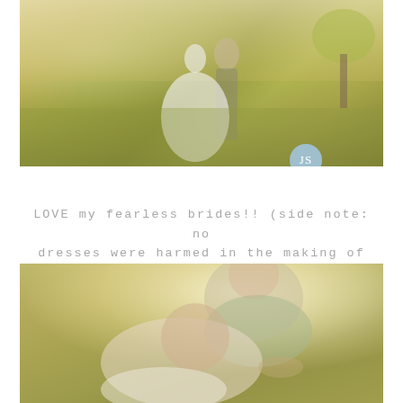[Figure (photo): Wedding photo of bride in white dress and groom standing in a golden field with tall grass and a tree in the background. Photographer watermark 'jessica smith PHOTOGRAPHY' with JS logo in light blue.]
LOVE my fearless brides!! (side note: no dresses were harmed in the making of this next picture) ;O)
[Figure (photo): Close-up wedding portrait of a couple outdoors. The groom in a light green shirt and blue tie is in the background, and the bride is in the foreground leaning back against him, both in warm golden light.]